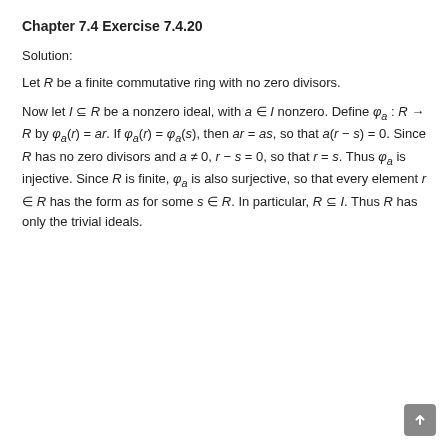Chapter 7.4 Exercise 7.4.20
Solution:
Let R be a finite commutative ring with no zero divisors.
Now let I ⊆ R be a nonzero ideal, with a ∈ I nonzero. Define φ_a : R → R by φ_a(r) = ar. If φ_a(r) = φ_a(s), then ar = as, so that a(r − s) = 0. Since R has no zero divisors and a ≠ 0, r − s = 0, so that r = s. Thus φ_a is injective. Since R is finite, φ_a is also surjective, so that every element r ∈ R has the form as for some s ∈ R. In particular, R ⊆ I. Thus R has only the trivial ideals.